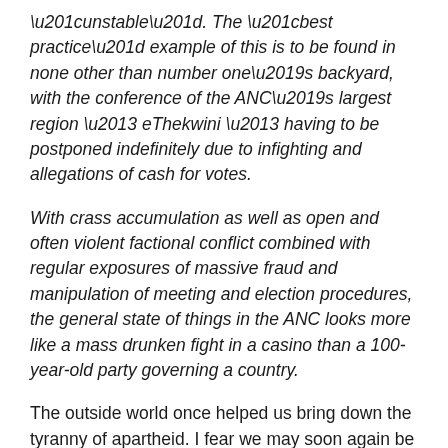“unstable”. The “best practice” example of this is to be found in none other than number one’s backyard, with the conference of the ANC’s largest region – eThekwini – having to be postponed indefinitely due to infighting and allegations of cash for votes.
With crass accumulation as well as open and often violent factional conflict combined with regular exposures of massive fraud and manipulation of meeting and election procedures, the general state of things in the ANC looks more like a mass drunken fight in a casino than a 100-year-old party governing a country.
The outside world once helped us bring down the tyranny of apartheid. I fear we may soon again be calling upon the outside world to help us bring down the tainted liberator.